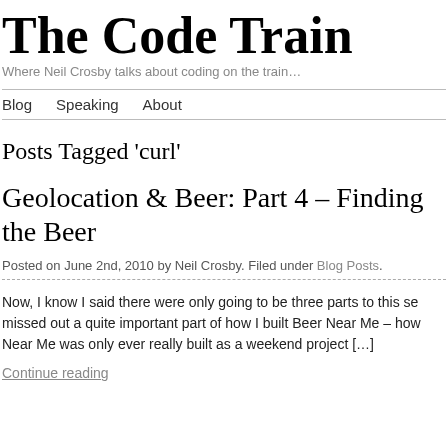The Code Train
Where Neil Crosby talks about coding on the train…
Blog   Speaking   About
Posts Tagged 'curl'
Geolocation & Beer: Part 4 – Finding the Beer
Posted on June 2nd, 2010 by Neil Crosby. Filed under Blog Posts.
Now, I know I said there were only going to be three parts to this se missed out a quite important part of how I built Beer Near Me – how Near Me was only ever really built as a weekend project […]
Continue reading